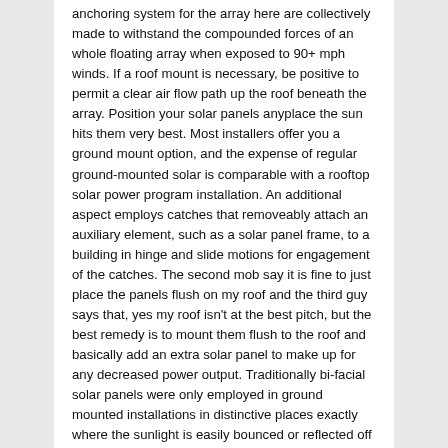anchoring system for the array here are collectively made to withstand the compounded forces of an whole floating array when exposed to 90+ mph winds. If a roof mount is necessary, be positive to permit a clear air flow path up the roof beneath the array. Position your solar panels anyplace the sun hits them very best. Most installers offer you a ground mount option, and the expense of regular ground-mounted solar is comparable with a rooftop solar power program installation. An additional aspect employs catches that removeably attach an auxiliary element, such as a solar panel frame, to a building in hinge and slide motions for engagement of the catches. The second mob say it is fine to just place the panels flush on my roof and the third guy says that, yes my roof isn't at the best pitch, but the best remedy is to mount them flush to the roof and basically add an extra solar panel to make up for any decreased power output. Traditionally bi-facial solar panels were only employed in ground mounted installations in distinctive places exactly where the sunlight is easily bounced or reflected off the surrounding surfaces, in specific snow-prone regions and intense latitudes. The number of solar cells on 1 panel is directly